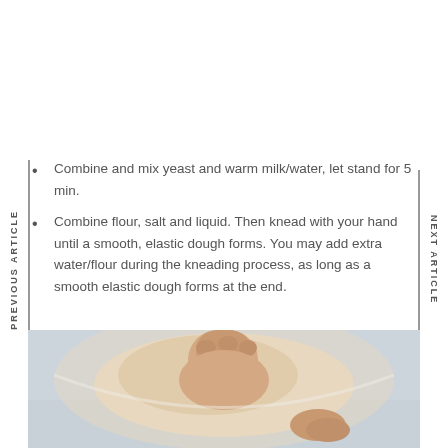PREVIOUS ARTICLE
NEXT ARTICLE
Combine and mix yeast and warm milk/water, let stand for 5 min.
Combine flour, salt and liquid. Then knead with your hand until a smooth, elastic dough forms. You may add extra water/flour during the kneading process, as long as a smooth elastic dough forms at the end.
[Figure (photo): A hand kneading dough in a bowl, viewed from above against a light blue-grey background]